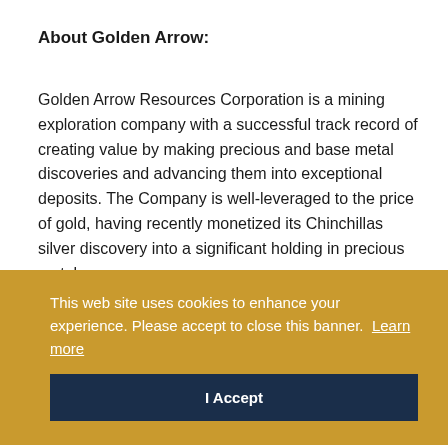About Golden Arrow:
Golden Arrow Resources Corporation is a mining exploration company with a successful track record of creating value by making precious and base metal discoveries and advancing them into exceptional deposits. The Company is well-leveraged to the price of gold, having recently monetized its Chinchillas silver discovery into a significant holding in precious metals
This web site uses cookies to enhance your experience. Please accept to close this banner.  Learn more
I Accept
le 85,000
resource management group that has pioneered